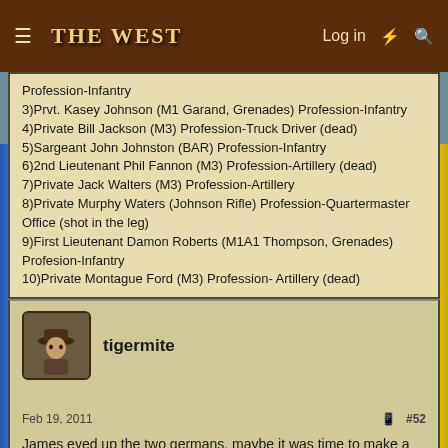The West — Log in
Profession-Infantry
3)Prvt. Kasey Johnson (M1 Garand, Grenades) Profession-Infantry
4)Private Bill Jackson (M3) Profession-Truck Driver (dead)
5)Sargeant John Johnston (BAR) Profession-Infantry
6)2nd Lieutenant Phil Fannon (M3) Profession-Artillery (dead)
7)Private Jack Walters (M3) Profession-Artillery
8)Private Murphy Waters (Johnson Rifle) Profession-Quartermaster Office (shot in the leg)
9)First Lieutenant Damon Roberts (M1A1 Thompson, Grenades) Profesion-Infantry
10)Private Montague Ford (M3) Profession- Artillery (dead)
tigermite
Feb 19, 2011    #52
James eyed up the two germans. maybe it was time to make a break for it.